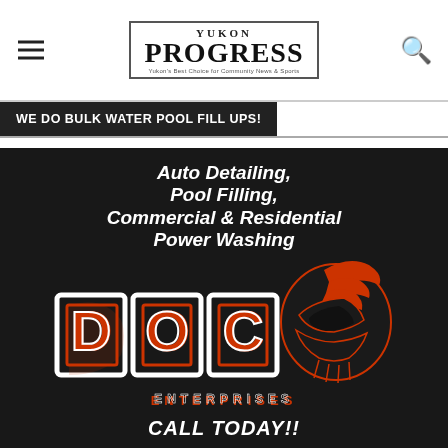Yukon Progress
WE DO BULK WATER POOL FILL UPS!
[Figure (advertisement): DOC Enterprises advertisement featuring bold italic white text on dark background: 'Auto Detailing, Pool Filling, Commercial & Residential Power Washing'. Below text is the DOC Enterprises logo with a Spartan helmet graphic in red/white/black, with 'ENTERPRISES' spelled out below, and 'CALL TODAY!!' at the bottom.]